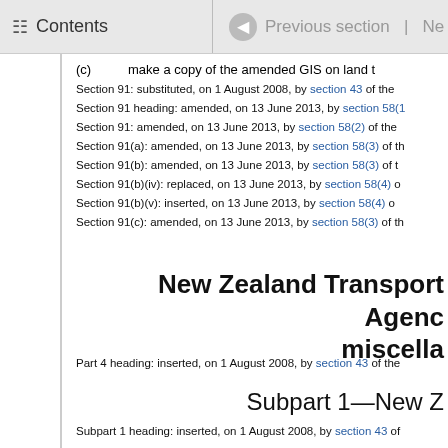Contents | Previous section | Ne
(c) make a copy of the amended GIS on land t...
Section 91: substituted, on 1 August 2008, by section 43 of the
Section 91 heading: amended, on 13 June 2013, by section 58(1
Section 91: amended, on 13 June 2013, by section 58(2) of the
Section 91(a): amended, on 13 June 2013, by section 58(3) of th
Section 91(b): amended, on 13 June 2013, by section 58(3) of t
Section 91(b)(iv): replaced, on 13 June 2013, by section 58(4)
Section 91(b)(v): inserted, on 13 June 2013, by section 58(4) o
Section 91(c): amended, on 13 June 2013, by section 58(3) of th
New Zealand Transport Agenc miscella
Part 4 heading: inserted, on 1 August 2008, by section 43 of the
Subpart 1—New Z
Subpart 1 heading: inserted, on 1 August 2008, by section 43 o